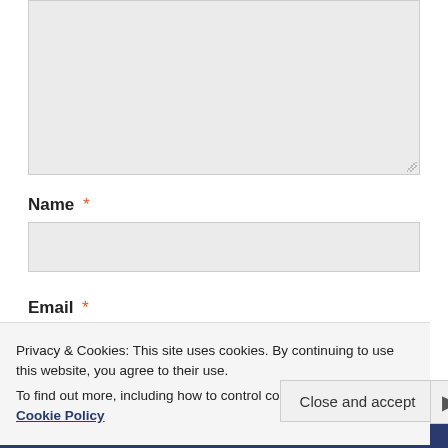[Figure (screenshot): Textarea input box (empty, gray background) with resize handle at bottom right]
Name *
[Figure (screenshot): Name text input field (empty, gray background)]
Email *
Privacy & Cookies: This site uses cookies. By continuing to use this website, you agree to their use.
To find out more, including how to control cookies, see here: Cookie Policy
Close and accept